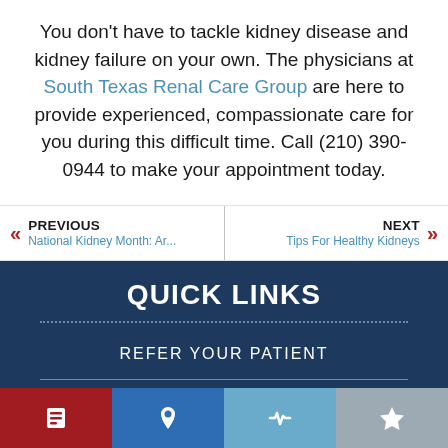You don't have to tackle kidney disease and kidney failure on your own. The physicians at South Texas Renal Care Group are here to provide experienced, compassionate care for you during this difficult time. Call (210) 390-0944 to make your appointment today.
« PREVIOUS | National Kidney Month: Ar...
NEXT » | Tips For Healthy Kidneys
QUICK LINKS
REFER YOUR PATIENT
REQUEST AN APPOINTMENT